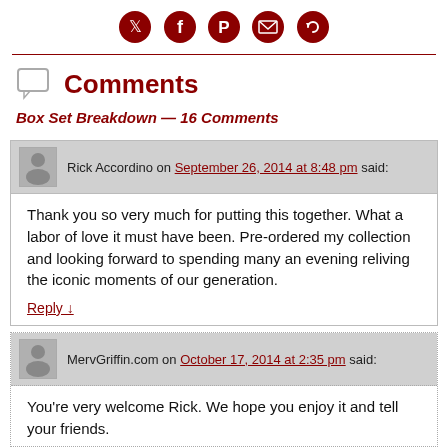[Figure (infographic): Social media share icons: Twitter, Facebook, Pinterest, Email, Refresh/Share]
Comments
Box Set Breakdown — 16 Comments
Rick Accordino on September 26, 2014 at 8:48 pm said:
Thank you so very much for putting this together. What a labor of love it must have been. Pre-ordered my collection and looking forward to spending many an evening reliving the iconic moments of our generation.
Reply ↓
MervGriffin.com on October 17, 2014 at 2:35 pm said:
You're very welcome Rick. We hope you enjoy it and tell your friends.